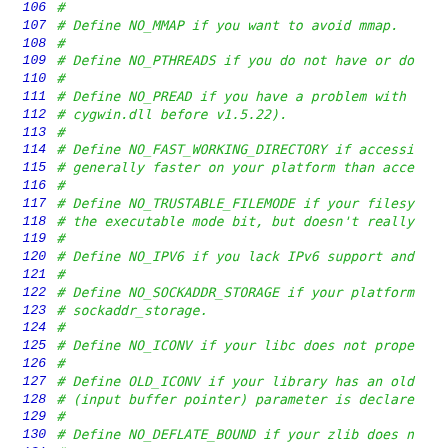Code listing lines 106-135 from a Makefile configuration file showing NO_MMAP, NO_PTHREADS, NO_PREAD, NO_FAST_WORKING_DIRECTORY, NO_TRUSTABLE_FILEMODE, NO_IPV6, NO_SOCKADDR_STORAGE, NO_ICONV, OLD_ICONV, NO_DEFLATE_BOUND, NO_R_TO_GCC_LINKER definitions